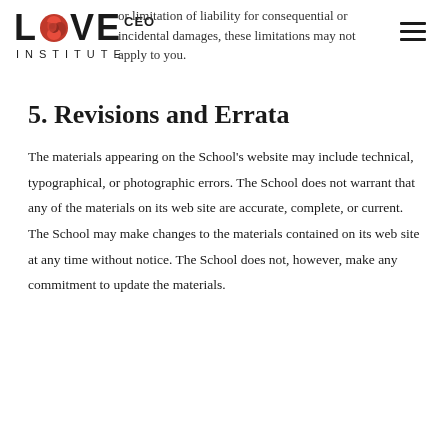LOVE CEO INSTITUTE
or limitation of liability for consequential or incidental damages, these limitations may not apply to you.
5. Revisions and Errata
The materials appearing on the School's website may include technical, typographical, or photographic errors. The School does not warrant that any of the materials on its web site are accurate, complete, or current. The School may make changes to the materials contained on its web site at any time without notice. The School does not, however, make any commitment to update the materials.